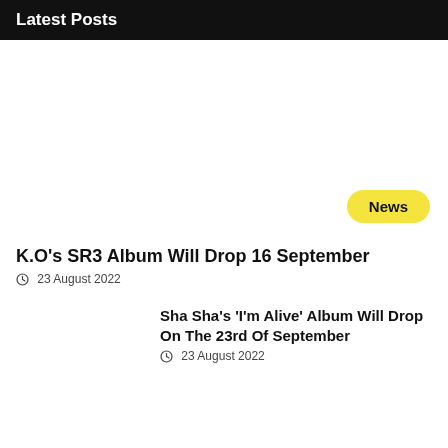Latest Posts
[Figure (other): White image placeholder area with a yellow 'News' badge in the bottom right corner]
K.O's SR3 Album Will Drop 16 September
23 August 2022
Sha Sha's 'I'm Alive' Album Will Drop On The 23rd Of September
23 August 2022